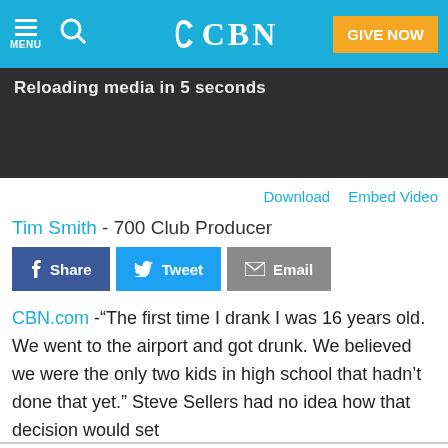CBN - MENU | Search | GIVE NOW
[Figure (screenshot): Dark video thumbnail area with white text: Reloading media in 5 seconds]
Download   Embed Video
Tim Smith - 700 Club Producer
Share  Tweet  Email
CBN.com -“The first time I drank I was 16 years old. We went to the airport and got drunk. We believed we were the only two kids in high school that hadn’t done that yet.” Steve Sellers had no idea how that decision would set